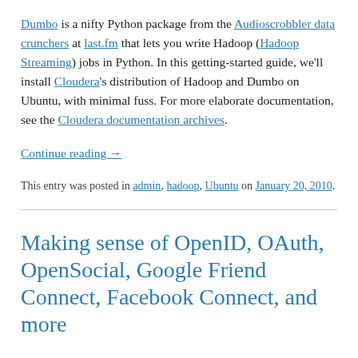Dumbo is a nifty Python package from the Audioscrobbler data crunchers at last.fm that lets you write Hadoop (Hadoop Streaming) jobs in Python. In this getting-started guide, we'll install Cloudera's distribution of Hadoop and Dumbo on Ubuntu, with minimal fuss. For more elaborate documentation, see the Cloudera documentation archives.
Continue reading →
This entry was posted in admin, hadoop, Ubuntu on January 20, 2010.
Making sense of OpenID, OAuth, OpenSocial, Google Friend Connect, Facebook Connect, and more